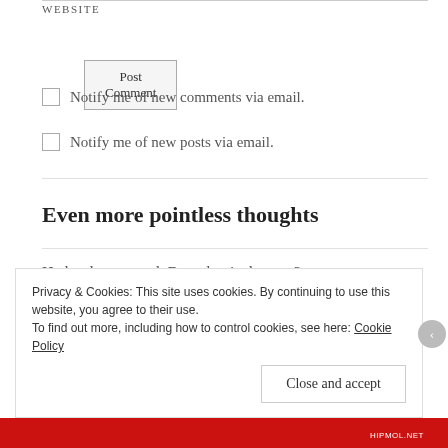WEBSITE
Post Comment
Notify me of new comments via email.
Notify me of new posts via email.
Even more pointless thoughts
He has been cured. But what is the cost?
Privacy & Cookies: This site uses cookies. By continuing to use this website, you agree to their use.
To find out more, including how to control cookies, see here: Cookie Policy
Close and accept